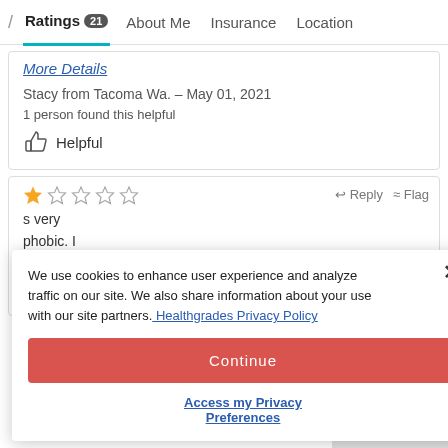/ Ratings 21  About Me  Insurance  Location
More Details
Stacy from Tacoma Wa. – May 01, 2021
1 person found this helpful
Helpful
[Figure (other): 1-star rating (1 filled star, 4 empty stars)]
Reply  Flag
s very phobic. I he er and but as
We use cookies to enhance user experience and analyze traffic on our site. We also share information about your use with our site partners. Healthgrades Privacy Policy
Continue
Access my Privacy Preferences